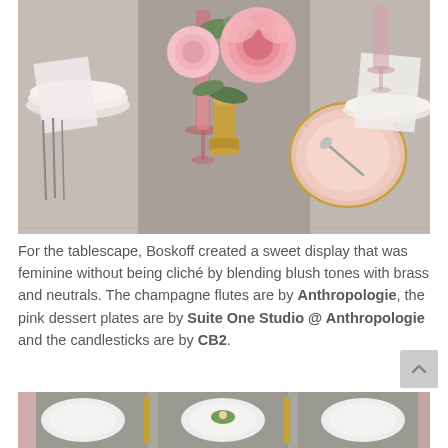[Figure (photo): Elegant wedding tablescape with pink peonies in a gold vase, pink champagne flutes, white plates, a pink dessert plate with a spoon, gray linen table runner, and cutlery.]
For the tablescape, Boskoff created a sweet display that was feminine without being cliché by blending blush tones with brass and neutrals. The champagne flutes are by Anthropologie, the pink dessert plates are by Suite One Studio @ Anthropologie and the candlesticks are by CB2.
[Figure (photo): Bottom portion of a wedding table setting showing white plates on gray placemats with gold candlesticks and a pink floral accent.]